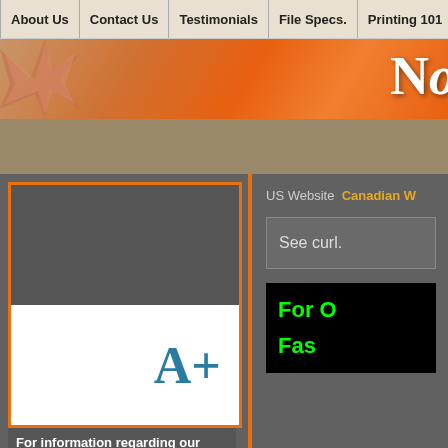About Us | Contact Us | Testimonials | File Specs. | Printing 101 | Find Designer | Te...
[Figure (screenshot): Orange gradient banner with star burst on left and partial text 'N' on right]
US Website  Canadian W...
See curl.
[Figure (illustration): Dark gray image placeholder area inside orange border box, then white area with 'A+' grade in teal/blue]
For information regarding our certified product please call 1-877-987-7855.
4 color brochure
Cheap 4 Color Printing
For O
Fas...